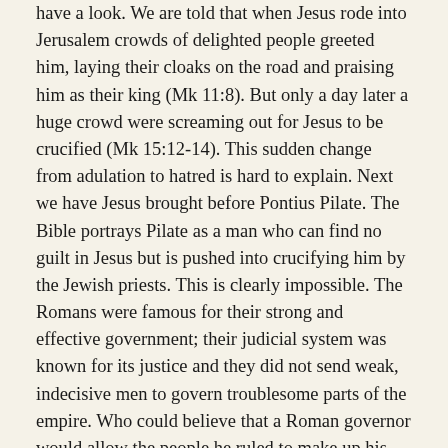have a look. We are told that when Jesus rode into Jerusalem crowds of delighted people greeted him, laying their cloaks on the road and praising him as their king (Mk 11:8). But only a day later a huge crowd were screaming out for Jesus to be crucified (Mk 15:12-14). This sudden change from adulation to hatred is hard to explain. Next we have Jesus brought before Pontius Pilate. The Bible portrays Pilate as a man who can find no guilt in Jesus but is pushed into crucifying him by the Jewish priests. This is clearly impossible. The Romans were famous for their strong and effective government; their judicial system was known for its justice and they did not send weak, indecisive men to govern troublesome parts of the empire. Who could believe that a Roman governor would allow the people he ruled to make up his mind for him and tell him how to run his own court? The Bible says that Pilate asked the crowd whether they wanted either Jesus or Barabbas released (Lk 23:13-18), and when they said Barabbas, he was set free and Jesus was executed. Now credibility has been stretched to the limit. We are asked to believe that a Roman governor would execute a man he believed to be innocent and set free a rebel involved in murder and trying to overthrow Roman rule (Lk 23:19). The Romans did not...